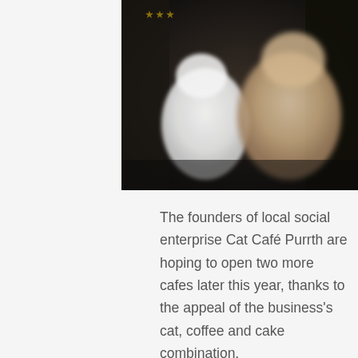[Figure (photo): Photo of cats in a cafe setting. A white cat and a beige/tan cat are visible against a dark background interior.]
The founders of local social enterprise Cat Café Purrth are hoping to open two more cafes later this year, thanks to the appeal of the business's cat, coffee and cake combination.
Visitors to Perth could be forgiven for thinking the city is a haven for ailurophiles, commonly known as cat lovers, particularly if they stopped in at Subiaco's Cat Café Purrth.
Founders Chris Mewburn and Euterpe